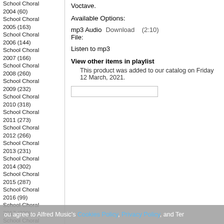School Choral 2004 (60)
School Choral 2005 (163)
School Choral 2006 (144)
School Choral 2007 (166)
School Choral 2008 (260)
School Choral 2009 (232)
School Choral 2010 (318)
School Choral 2011 (273)
School Choral 2012 (266)
School Choral 2013 (231)
School Choral 2014 (302)
School Choral 2015 (287)
School Choral 2016 (99)
School Choral 2017 (229)
School Choral 2018 (197)
School Choral 2019 (136)
School Choral 2020 (128)
School Choral 2021 (75)
School Choral 2022 (75)
Concert Band (3300)
Digital PianoTrax (108)
Digital SoundTrax (185)
Voctave.
Available Options:
mp3 Audio File:
Download (2:10)
Listen to mp3
View other items in playlist
This product was added to our catalog on Friday 12 March, 2021.
ou agree to Alfred Music's Cookies Policy, Privacy Policy, and Ter